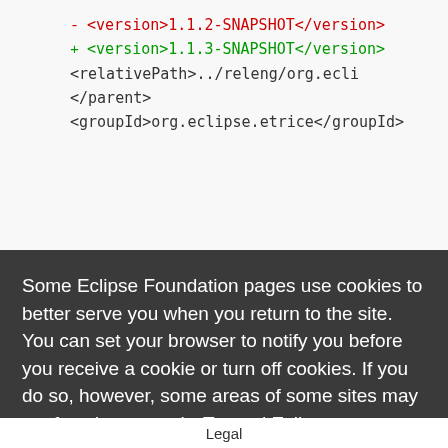[Figure (screenshot): Code diff showing XML version lines: removed line with <version>1.1.2-SNAPSHOT</version> in red, added line with <version>1.1.3-SNAPSHOT</version> in green, then <relativePath>../releng/org.ecli... and </parent> and <groupId>org.eclipse.etrice</groupId>]
Some Eclipse Foundation pages use cookies to better serve you when you return to the site. You can set your browser to notify you before you receive a cookie or turn off cookies. If you do so, however, some areas of some sites may not function properly. To read Eclipse Foundation Privacy Policy click here.
Decline
Allow cookies
Legal